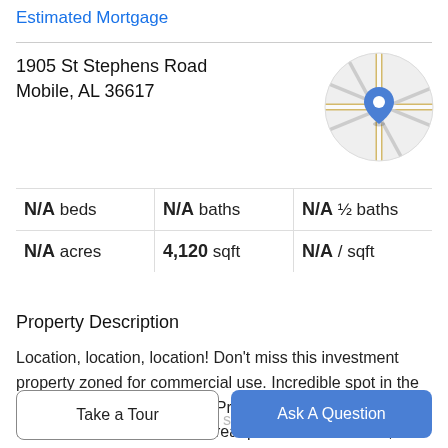Estimated Mortgage
1905 St Stephens Road
Mobile, AL 36617
[Figure (map): Circular map thumbnail showing street map with blue location pin marker]
|  |  |  |
| --- | --- | --- |
| N/A beds | N/A baths | N/A ½ baths |
| N/A acres | 4,120 sqft | N/A / sqft |
Property Description
Location, location, location! Don't miss this investment property zoned for commercial use. Incredible spot in the heart of a Toulminville area. Prominent visibility along high traffic St. Stephens Road. Great professional service,
commercial location or office space! It's conveniently
Take a Tour
Ask A Question